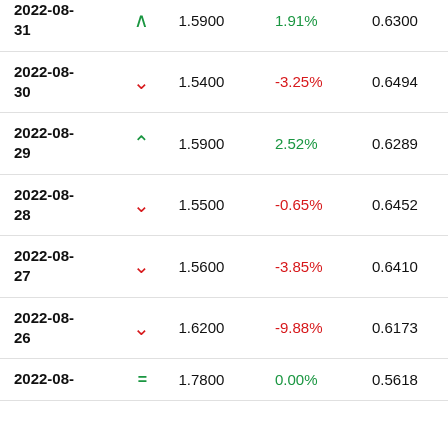| Date |  | Price | Change% | Value |
| --- | --- | --- | --- | --- |
| 2022-08-31 | ↑ | 1.5900 | 1.91% | 0.6300 |
| 2022-08-30 | ↓ | 1.5400 | -3.25% | 0.6494 |
| 2022-08-29 | ↑ | 1.5900 | 2.52% | 0.6289 |
| 2022-08-28 | ↓ | 1.5500 | -0.65% | 0.6452 |
| 2022-08-27 | ↓ | 1.5600 | -3.85% | 0.6410 |
| 2022-08-26 | ↓ | 1.6200 | -9.88% | 0.6173 |
| 2022-08-25 | = | 1.7800 | 0.00% | 0.5618 |